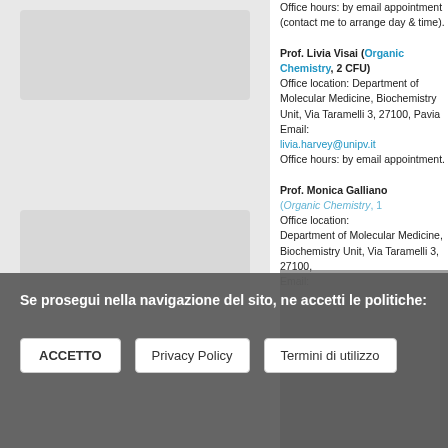Office hours: by email appointment (contact me to arrange day & time). Prof. Livia Visai (Organic Chemistry, 2 CFU) Office location: Department of Molecular Medicine, Biochemistry Unit, Via Taramelli 3, 27100, Pavia Email: livia.harvey@unipv.it Office hours: by email appointment. Prof. Monica Galliano (Organic Chemistry, 1 Office location: Department of Molecular Medicine, Biochemistry Unit, Via Taramelli 3, 27100, Email:
Se prosegui nella navigazione del sito, ne accetti le politiche:
ACCETTO
Privacy Policy
Termini di utilizzo